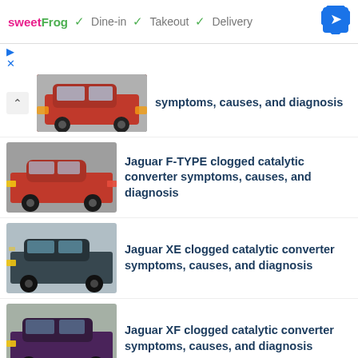[Figure (screenshot): Ad banner: sweetFrog logo with Dine-in, Takeout, Delivery checkmarks and navigation direction icon]
[Figure (photo): Red Jaguar E-PACE SUV (partially visible, top cropped)]
symptoms, causes, and diagnosis
[Figure (photo): Red Jaguar F-TYPE sports car]
Jaguar F-TYPE clogged catalytic converter symptoms, causes, and diagnosis
[Figure (photo): Dark grey Jaguar XE sedan]
Jaguar XE clogged catalytic converter symptoms, causes, and diagnosis
[Figure (photo): Dark maroon Jaguar XF sedan]
Jaguar XF clogged catalytic converter symptoms, causes, and diagnosis
[Figure (photo): Grey Jaguar XJ sedan (partially visible)]
Jaguar XJ clogged catalytic converter symptoms, causes, and diagnosis